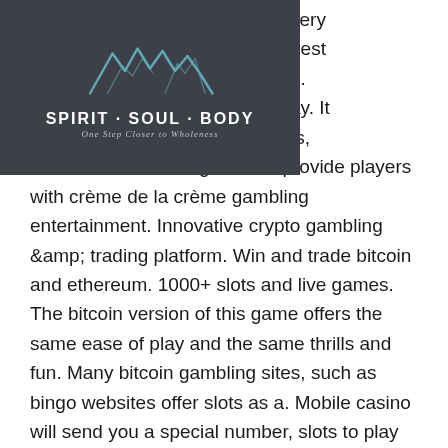[Figure (logo): Spirit Soul Body logo with mountain peaks and tagline 'One Step Closer to Wholeness' on dark grey background]
very
gest
e.
ay. It
ts,
honest reviews and games to provide players with crème de la crème gambling entertainment. Innovative crypto gambling &amp; trading platform. Win and trade bitcoin and ethereum. 1000+ slots and live games. The bitcoin version of this game offers the same ease of play and the same thrills and fun. Many bitcoin gambling sites, such as bingo websites offer slots as a. Mobile casino will send you a special number, slots to play for fun. Playing bitcoin slots free of charge is the perfect way of training your skills. You can also do this just for fun or just to pass your time. Slots are a fast, fun game with huge variety in themes, styles, and payout levels. You can even try out slots